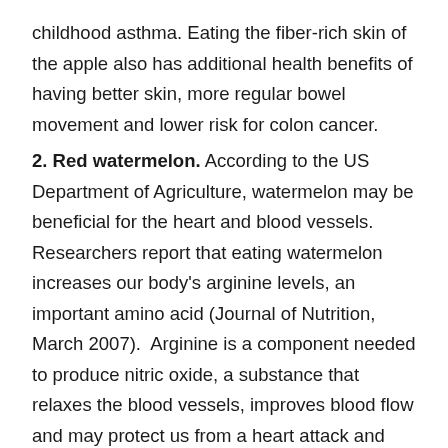childhood asthma. Eating the fiber-rich skin of the apple also has additional health benefits of having better skin, more regular bowel movement and lower risk for colon cancer.
2. Red watermelon. According to the US Department of Agriculture, watermelon may be beneficial for the heart and blood vessels. Researchers report that eating watermelon increases our body's arginine levels, an important amino acid (Journal of Nutrition, March 2007).  Arginine is a component needed to produce nitric oxide, a substance that relaxes the blood vessels, improves blood flow and may protect us from a heart attack and stroke. The deep-red watermelon variety contains the pigment lycopene, which may help prevent cancer and slow down aging.